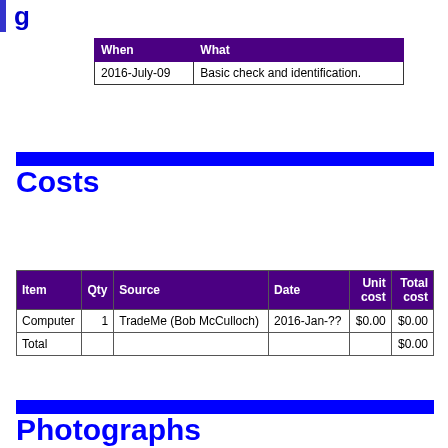g
| When | What |
| --- | --- |
| 2016-July-09 | Basic check and identification. |
Costs
| Item | Qty | Source | Date | Unit cost | Total cost |
| --- | --- | --- | --- | --- | --- |
| Computer | 1 | TradeMe (Bob McCulloch) | 2016-Jan-?? | $0.00 | $0.00 |
| Total |  |  |  |  | $0.00 |
Photographs